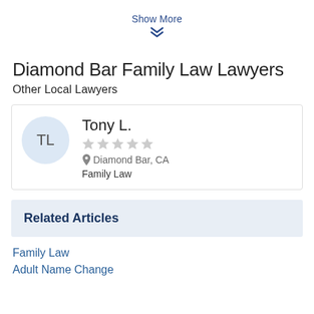Show More
Diamond Bar Family Law Lawyers
Other Local Lawyers
TL Tony L. ☆☆☆☆☆ Diamond Bar, CA Family Law
Related Articles
Family Law
Adult Name Change